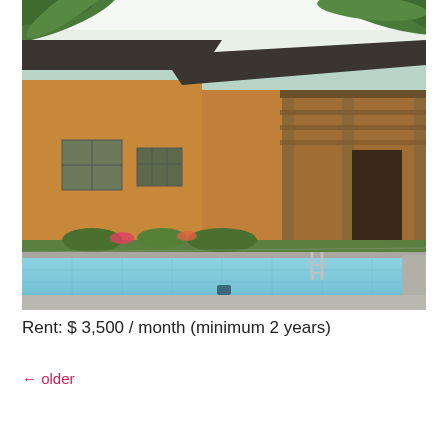[Figure (photo): Exterior photo of a single-story house with terracotta/orange walls, dark roof, windows with grilles, landscaping with shrubs and flowers, and a large rectangular swimming pool with light-blue water in the foreground. Palm tree leaves visible at the top.]
Rent: $ 3,500 / month (minimum 2 years)
← older